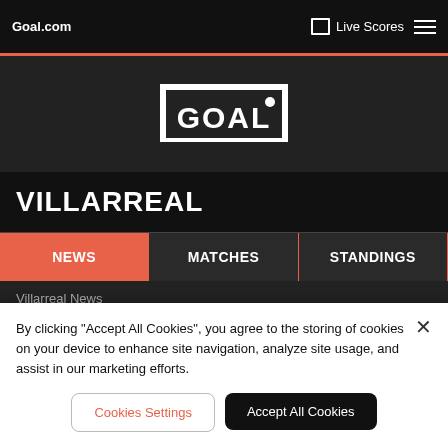Goal.com | Live Scores
[Figure (logo): Goal.com logo - white GOAL text with goal post frame on dark background]
VILLARREAL
NEWS
MATCHES
STANDINGS
Villarreal News
By clicking "Accept All Cookies", you agree to the storing of cookies on your device to enhance site navigation, analyze site usage, and assist in our marketing efforts.
Cookies Settings
Accept All Cookies